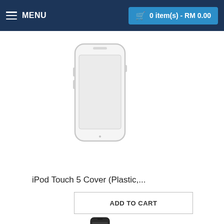MENU | 0 item(s) - RM 0.00
[Figure (photo): White/transparent iPod Touch 5 plastic cover case]
iPod Touch 5 Cover (Plastic,...
ADD TO CART
[Figure (photo): Black iPod Touch plastic cover case]